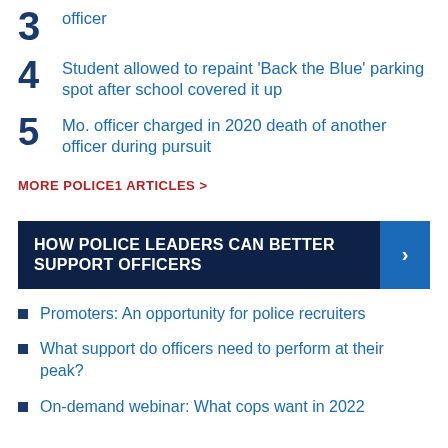3 officer
4 Student allowed to repaint 'Back the Blue' parking spot after school covered it up
5 Mo. officer charged in 2020 death of another officer during pursuit
MORE POLICE1 ARTICLES >
HOW POLICE LEADERS CAN BETTER SUPPORT OFFICERS
Promoters: An opportunity for police recruiters
What support do officers need to perform at their peak?
On-demand webinar: What cops want in 2022